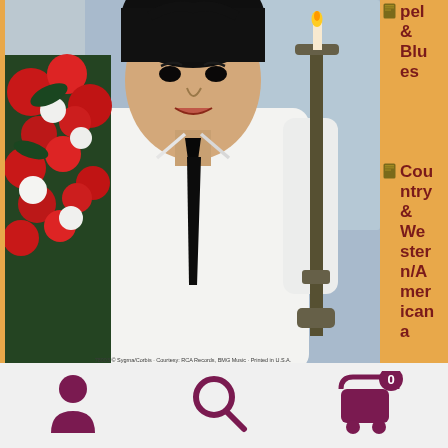[Figure (photo): Album cover photo of Elvis Presley in a white suit with black tie, standing in front of red roses and a candelabra]
pel & Blues
Country & Western/American
Rock 'n' Roll/Rocka
Elvis Presley – Are You Lonesome Tonight? (7"si US 1977) Collectors' Series – Limited Edition
€ 14,95
In Winkelmand